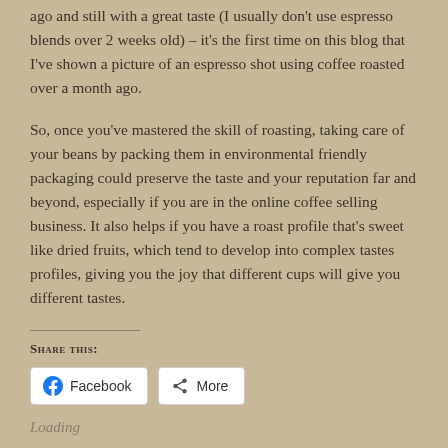ago and still with a great taste (I usually don't use espresso blends over 2 weeks old) – it's the first time on this blog that I've shown a picture of an espresso shot using coffee roasted over a month ago.
So, once you've mastered the skill of roasting, taking care of your beans by packing them in environmental friendly packaging could preserve the taste and your reputation far and beyond, especially if you are in the online coffee selling business. It also helps if you have a roast profile that's sweet like dried fruits, which tend to develop into complex tastes profiles, giving you the joy that different cups will give you different tastes.
Share this:
Facebook
More
Loading